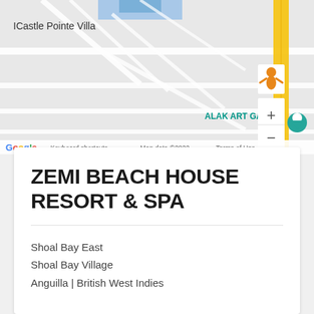[Figure (map): Google Maps screenshot showing the area around Castle Pointe Villa and Alak Art Gallery, with zoom controls and pegman icon. A yellow road runs on the right side.]
ZEMI BEACH HOUSE RESORT & SPA
Shoal Bay East
Shoal Bay Village
Anguilla | British West Indies